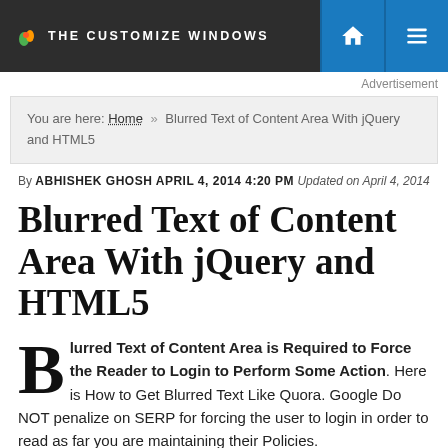THE CUSTOMIZE WINDOWS
Advertisement
You are here: Home » Blurred Text of Content Area With jQuery and HTML5
By ABHISHEK GHOSH APRIL 4, 2014 4:20 PM Updated on April 4, 2014
Blurred Text of Content Area With jQuery and HTML5
Blurred Text of Content Area is Required to Force the Reader to Login to Perform Some Action. Here is How to Get Blurred Text Like Quora. Google Do NOT penalize on SERP for forcing the user to login in order to read as far you are maintaining their Policies.